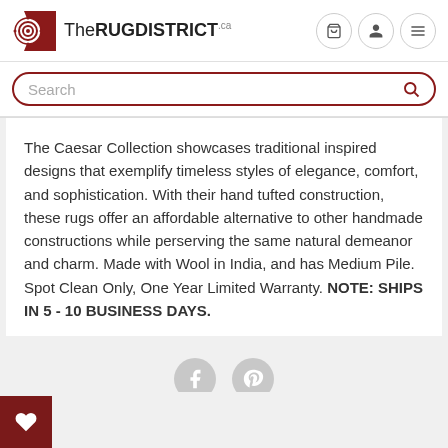[Figure (logo): TheRUGDISTRICT.ca logo with circular red and white icon on left and text on right]
Search
The Caesar Collection showcases traditional inspired designs that exemplify timeless styles of elegance, comfort, and sophistication. With their hand tufted construction, these rugs offer an affordable alternative to other handmade constructions while perserving the same natural demeanor and charm. Made with Wool in India, and has Medium Pile. Spot Clean Only, One Year Limited Warranty. NOTE: SHIPS IN 5 - 10 BUSINESS DAYS.
[Figure (other): Facebook and Pinterest social share icons (grey circles with f and pin icons)]